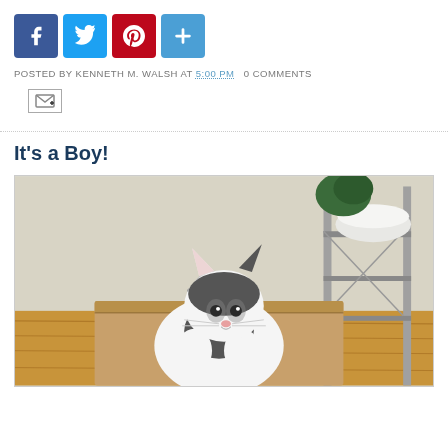[Figure (other): Social media sharing buttons: Facebook (blue), Twitter (blue), Pinterest (red), Plus/Add (blue)]
POSTED BY KENNETH M. WALSH AT 5:00 PM   0 COMMENTS
[Figure (other): Email subscribe icon button]
It's a Boy!
[Figure (photo): A black and white cat sitting inside a cardboard box on a wooden floor. Behind the cat are metal shelves with a white bowl, silver teapot, and green plant.]